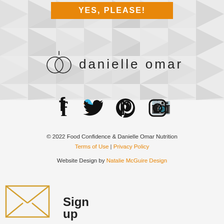[Figure (other): Orange button with text (partially cut off at top) on geometric triangle background pattern]
[Figure (logo): Danielle Omar brand logo with two overlapping circles (tomato/fruit icon) and text 'danielle omar' in light sans-serif]
[Figure (infographic): Social media icons: Facebook, Twitter, Pinterest, Instagram]
© 2022 Food Confidence & Danielle Omar Nutrition
Terms of Use | Privacy Policy
Website Design by Natalie McGuire Design
Sign Up